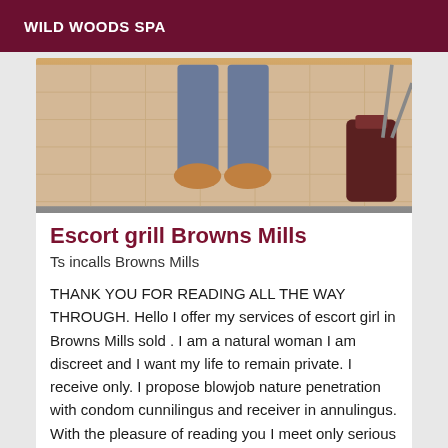WILD WOODS SPA
[Figure (photo): Photo showing legs/feet on a tiled floor from above, with a dark object visible on the right side]
Escort grill Browns Mills
Ts incalls Browns Mills
THANK YOU FOR READING ALL THE WAY THROUGH. Hello I offer my services of escort girl in Browns Mills sold . I am a natural woman I am discreet and I want my life to remain private. I receive only. I propose blowjob nature penetration with condom cunnilingus and receiver in annulingus. With the pleasure of reading you I meet only serious and respectful people thank you.
[Figure (photo): Partial photo of a person visible at the bottom of the page]